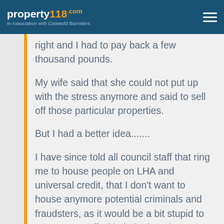property118.com — In Association with Cotswold Barristers
right and I had to pay back a few thousand pounds.
My wife said that she could not put up with the stress anymore and said to sell off those particular properties.
But I had a better idea.......
I have since told all council staff that ring me to house people on LHA and universal credit, that I don't want to house anymore potential criminals and fraudsters, as it would be a bit stupid to cut my toes off with their shovel.
Instead, I use letting agents that don't